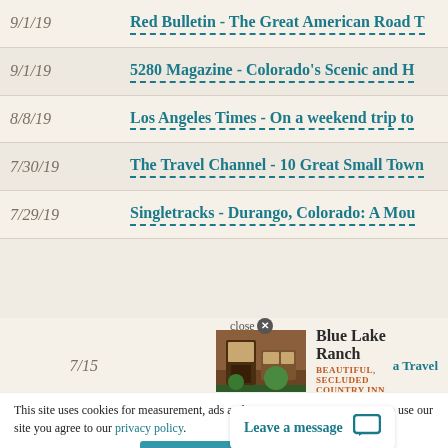| Date | Article |
| --- | --- |
| 9/1/19 | Red Bulletin - The Great American Road T |
| 9/1/19 | 5280 Magazine - Colorado's Scenic and H |
| 8/8/19 | Los Angeles Times - On a weekend trip to |
| 7/30/19 | The Travel Channel - 10 Great Small Town |
| 7/29/19 | Singletracks - Durango, Colorado: A Mou |
| 7/15 | Blue Lake Ranch   a Travel |
| 5/20/19 | he 10 Rul |
[Figure (photo): Interior photo of Blue Lake Ranch showing warm wooden decor]
Blue Lake Ranch
BEAUTIFUL, SECLUDED COUNTRY INN »
close ✕
This site uses cookies for measurement, ads and optimization. By continuing to use our site you agree to our privacy policy.
Accept
Leave a message